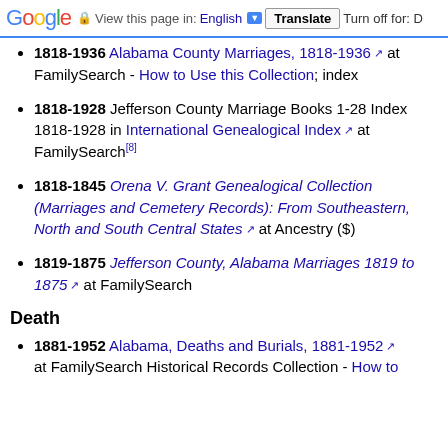Google | View this page in: English [dropdown] Translate | Turn off for: D
1818-1936 Alabama County Marriages, 1818-1936 [external] at FamilySearch - How to Use this Collection; index
1818-1928 Jefferson County Marriage Books 1-28 Index 1818-1928 in International Genealogical Index [external] at FamilySearch[8]
1818-1845 Orena V. Grant Genealogical Collection (Marriages and Cemetery Records): From Southeastern, North and South Central States [external] at Ancestry ($)
1819-1875 Jefferson County, Alabama Marriages 1819 to 1875 [external] at FamilySearch
Death
1881-1952 Alabama, Deaths and Burials, 1881-1952 [external] at FamilySearch Historical Records Collection - How to